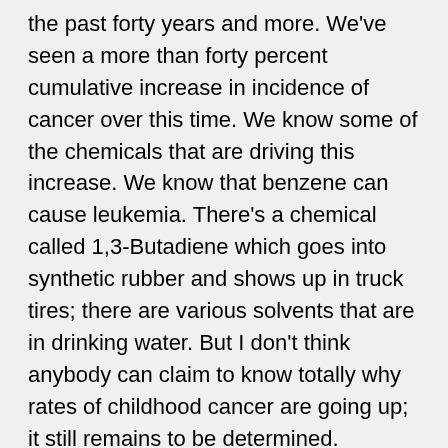the past forty years and more. We've seen a more than forty percent cumulative increase in incidence of cancer over this time. We know some of the chemicals that are driving this increase. We know that benzene can cause leukemia. There's a chemical called 1,3-Butadiene which goes into synthetic rubber and shows up in truck tires; there are various solvents that are in drinking water. But I don't think anybody can claim to know totally why rates of childhood cancer are going up; it still remains to be determined.
CURWOOD: Dr. Landrigan, you write that these health impacts can appear in childhood as well as much later in life. Why do some of these impacts take so long to manifest?
LANDRIGAN: Well the understanding has grown in the last fifteen or twenty years that negative exposures that